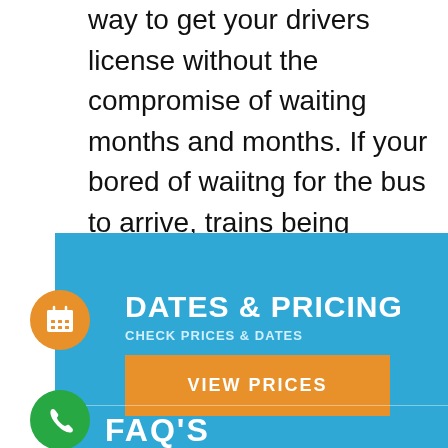way to get your drivers license without the compromise of waiting months and months. If your bored of waiitng for the bus to arrive, trains being cancelled, get in touch with us today to start driving!
DATES & PRICING
CHECK PRICES & DATES
VIEW PRICES
FAQ'S